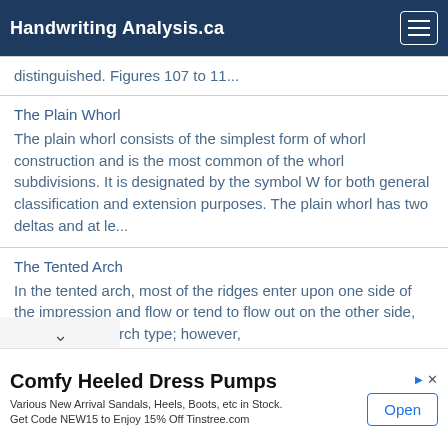Handwriting Analysis.ca
distinguished. Figures 107 to 11...
The Plain Whorl
The plain whorl consists of the simplest form of whorl construction and is the most common of the whorl subdivisions. It is designated by the symbol W for both general classification and extension purposes. The plain whorl has two deltas and at le...
The Tented Arch
In the tented arch, most of the ridges enter upon one side of the impression and flow or tend to flow out on the other side, as in the plain arch type; however,
Comfy Heeled Dress Pumps
Various New Arrival Sandals, Heels, Boots, etc in Stock.
Get Code NEW15 to Enjoy 15% Off Tinstree.com